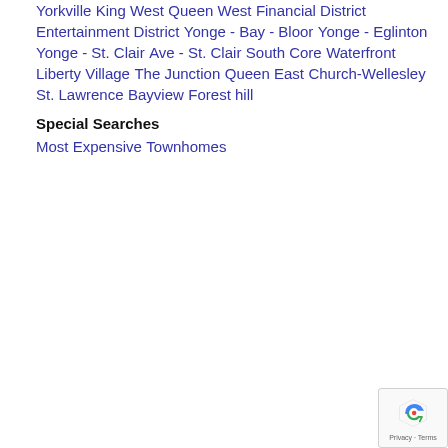Yorkville
King West
Queen West
Financial District
Entertainment District
Yonge - Bay - Bloor
Yonge - Eglinton
Yonge - St. Clair
Ave - St. Clair
South Core
Waterfront
Liberty Village
The Junction
Queen East
Church-Wellesley
St. Lawrence
Bayview
Forest hill
Special Searches
Most Expensive
Townhomes